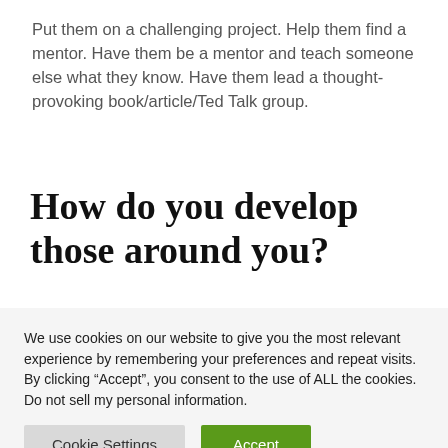Put them on a challenging project. Help them find a mentor. Have them be a mentor and teach someone else what they know. Have them lead a thought-provoking book/article/Ted Talk group.
How do you develop those around you?
We use cookies on our website to give you the most relevant experience by remembering your preferences and repeat visits. By clicking “Accept”, you consent to the use of ALL the cookies. Do not sell my personal information.